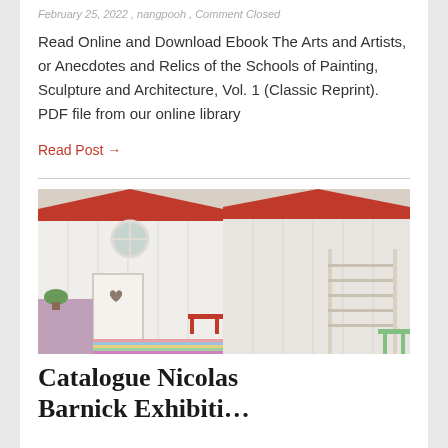February 25, 2022 , nangpooh , Comment Closed
Read Online and Download Ebook The Arts and Artists, or Anecdotes and Relics of the Schools of Painting, Sculpture and Architecture, Vol. 1 (Classic Reprint). PDF file from our online library
Read Post →
[Figure (photo): Interior photo of a children's room designed as a playhouse with white wooden walls, red trim roof, circular window, heart-shaped door cutout, bunk beds with ladder, colorful striped rug, and various play furniture.]
Catalogue Nicolas Barnick Exhibition